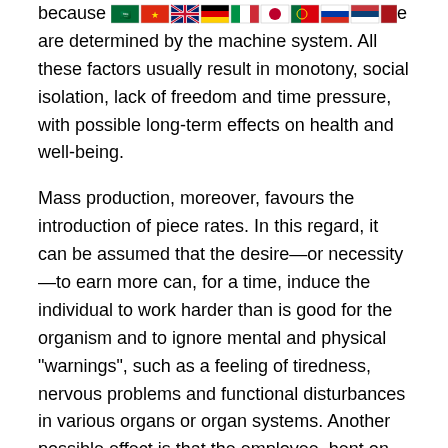because [flags] e are determined by the machine system. All these factors usually result in monotony, social isolation, lack of freedom and time pressure, with possible long-term effects on health and well-being.
Mass production, moreover, favours the introduction of piece rates. In this regard, it can be assumed that the desire—or necessity—to earn more can, for a time, induce the individual to work harder than is good for the organism and to ignore mental and physical "warnings", such as a feeling of tiredness, nervous problems and functional disturbances in various organs or organ systems. Another possible effect is that the employee, bent on raising output and earnings, infringes safety regulations thereby increasing the risk of occupational disease and of accidents to oneself and others (e.g., lorry drivers on piece rates).
Highly automated work processes. In automated work the repetitive, manual elements are taken over by machines, and